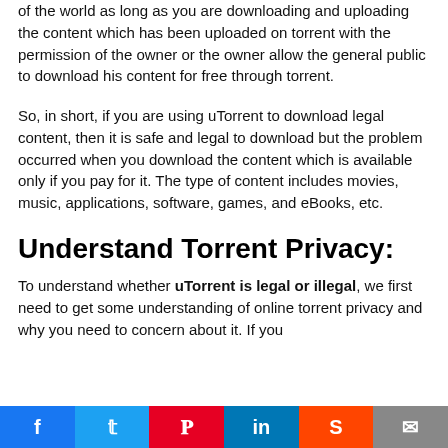of the world as long as you are downloading and uploading the content which has been uploaded on torrent with the permission of the owner or the owner allow the general public to download his content for free through torrent.
So, in short, if you are using uTorrent to download legal content, then it is safe and legal to download but the problem occurred when you download the content which is available only if you pay for it. The type of content includes movies, music, applications, software, games, and eBooks, etc.
Understand Torrent Privacy:
To understand whether uTorrent is legal or illegal, we first need to get some understanding of online torrent privacy and why you need to concern about it. If you
f  t  P  in  S  mail